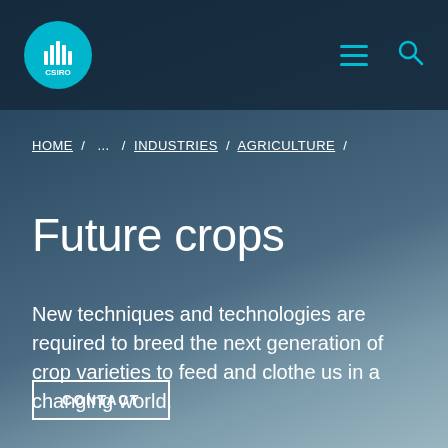CSIRO logo, navigation menu, and search icon
HOME / ... / INDUSTRIES / AGRICULTURE /
Future crops
New techniques and technologies are required to breed the next generation of crop varieties to feed and clothe us in a changing world.
CONTACT